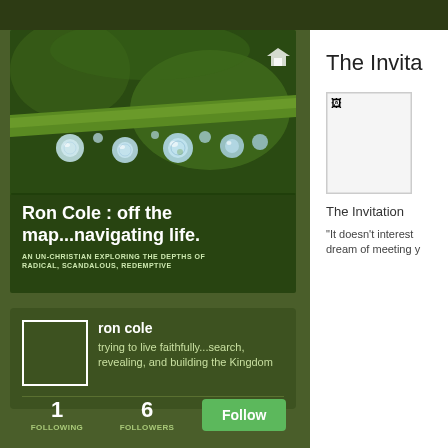[Figure (photo): Close-up macro photo of green plant stem with water/dew drops hanging from it, dark green background]
Ron Cole : off the map...navigating life.
AN UN-CHRISTIAN EXPLORING THE DEPTHS OF RADICAL, SCANDALOUS, REDEMPTIVE
ron cole
trying to live faithfully...search, revealing, and building the Kingdom
1
FOLLOWING
6
FOLLOWERS
Follow
The Invita
[Figure (photo): Partially loaded or broken image placeholder]
The Invitation
"It doesn't interest
dream of meeting y